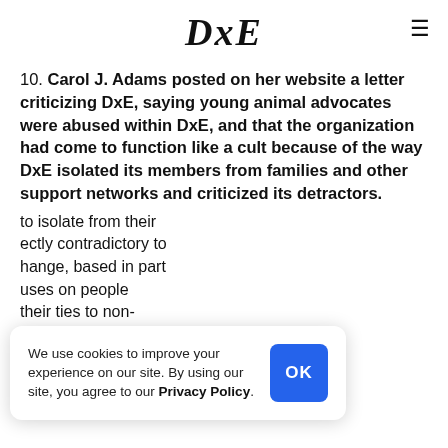DxE
10. Carol J. Adams posted on her website a letter criticizing DxE, saying young animal advocates were abused within DxE, and that the organization had come to function like a cult because of the way DxE isolated its members from families and other support networks and criticized its detractors.
to isolate from their ectly contradictory to hange, based in part uses on people their ties to non-animal rights supporters.
We use cookies to improve your experience on our site. By using our site, you agree to our Privacy Policy.